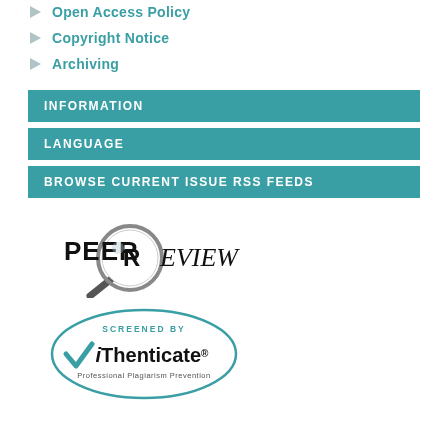Open Access Policy
Copyright Notice
Archiving
INFORMATION
LANGUAGE
BROWSE CURRENT ISSUE RSS FEEDS
[Figure (logo): Peer Review logo with magnifying glass graphic]
[Figure (logo): iThenticate Screened By badge - Professional Plagiarism Prevention oval logo]